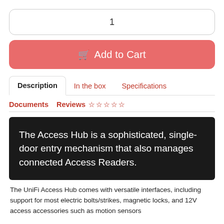1
🛒 Add to Cart
Description  In the box  Specifications
Documents  Reviews ☆☆☆☆☆
The Access Hub is a sophisticated, single-door entry mechanism that also manages connected Access Readers.
The UniFi Access Hub comes with versatile interfaces, including support for most electric bolts/strikes, magnetic locks, and 12V access accessories such as motion sensors